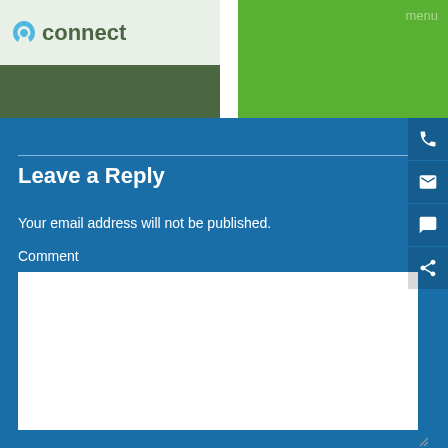[Figure (screenshot): Top section with two panels: left panel showing a 'connect' logo on light background with dark green bar below, right panel showing a bright green navigation bar with 'menu' text in upper right]
Leave a Reply
Your email address will not be published.
Comment